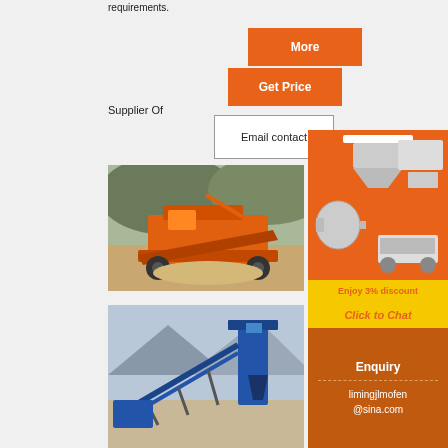requirements.
Supplier Of
More
Get Price
Email contact
[Figure (photo): Orange mobile jaw/screening crusher machine at a quarry/mining site with excavator and hills in background]
[Figure (photo): Blue conveyor belt and screening plant equipment at a mining/quarry site with mountains in background]
[Figure (illustration): Orange sidebar banner showing multiple mining/crushing machinery products (cone crusher, jaw crusher, ball mill, mobile plant)]
Enjoy 3% discount
Click to Chat
Enquiry
limingjlmofen @sina.com